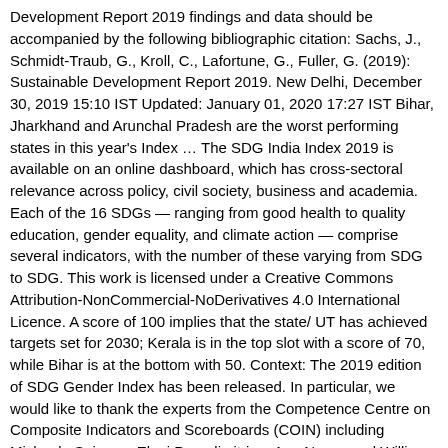Development Report 2019 findings and data should be accompanied by the following bibliographic citation: Sachs, J., Schmidt-Traub, G., Kroll, C., Lafortune, G., Fuller, G. (2019): Sustainable Development Report 2019. New Delhi, December 30, 2019 15:10 IST Updated: January 01, 2020 17:27 IST Bihar, Jharkhand and Arunchal Pradesh are the worst performing states in this year's Index ... The SDG India Index 2019 is available on an online dashboard, which has cross-sectoral relevance across policy, civil society, business and academia. Each of the 16 SDGs — ranging from good health to quality education, gender equality, and climate action — comprise several indicators, with the number of these varying from SDG to SDG. This work is licensed under a Creative Commons Attribution-NonCommercial-NoDerivatives 4.0 International Licence. A score of 100 implies that the state/ UT has achieved targets set for 2030; Kerala is in the top slot with a score of 70, while Bihar is at the bottom with 50. Context: The 2019 edition of SDG Gender Index has been released. In particular, we would like to thank the experts from the Competence Centre on Composite Indicators and Scoreboards (COIN) including Michaela Saisana, Eleni Papadimitriou, Ana Neves and William Becker. Guido holds a Ph.D. in Economics from Wageningen University & Research, an M.Phil. India succeeded in the areas of power and industry, water and sanitation, nutrition and